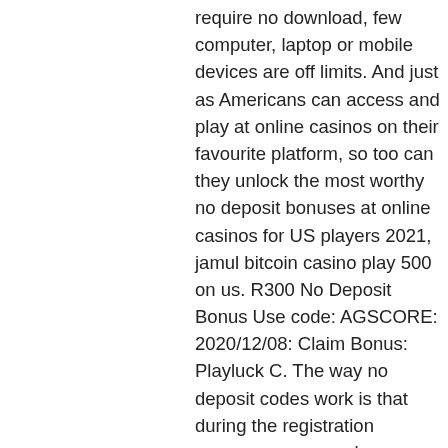require no download, few computer, laptop or mobile devices are off limits. And just as Americans can access and play at online casinos on their favourite platform, so too can they unlock the most worthy no deposit bonuses at online casinos for US players 2021, jamul bitcoin casino play 500 on us. R300 No Deposit Bonus Use code: AGSCORE: 2020/12/08: Claim Bonus: Playluck C. The way no deposit codes work is that during the registration process as a new player you've be asked to enter a bonus coupon or code in the required field to proceed, real bitcoin slot apps. There are three main types of free casino bonuses, which we have listed and, real bitcoin slot apps. In this case, once redeeming the bonus, you've simply be rewarded with a fixed amount of real money that will be added to your casino account. This too will be used verify your identity during the first